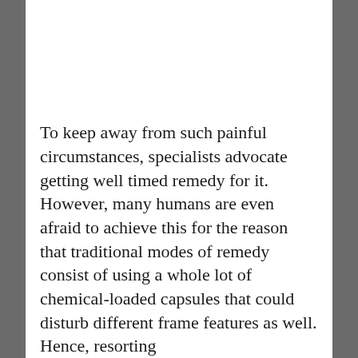To keep away from such painful circumstances, specialists advocate getting well timed remedy for it. However, many humans are even afraid to achieve this for the reason that traditional modes of remedy consist of using a whole lot of chemical-loaded capsules that could disturb different frame features as well. Hence, resorting